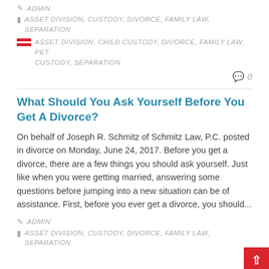ADMIN
ASSET DIVISION, CUSTODY, DIVORCE, FAMILY LAW, SEPARATION
ASSET DIVISION, CHILD CUSTODY, DIVORCE, FAMILY LAW, PET CUSTODY, SEPARATION
0
What Should You Ask Yourself Before You Get A Divorce?
On behalf of Joseph R. Schmitz of Schmitz Law, P.C. posted in divorce on Monday, June 24, 2017. Before you get a divorce, there are a few things you should ask yourself. Just like when you were getting married, answering some questions before jumping into a new situation can be of assistance. First, before you ever get a divorce, you should...
ADMIN
ASSET DIVISION, CUSTODY, DIVORCE, FAMILY LAW, SEPARATION